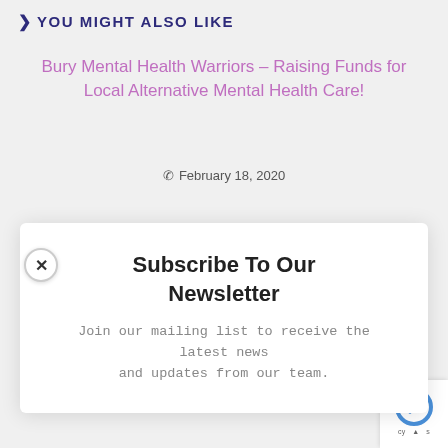YOU MIGHT ALSO LIKE
Bury Mental Health Warriors – Raising Funds for Local Alternative Mental Health Care!
February 18, 2020
Subscribe To Our Newsletter
Join our mailing list to receive the latest news and updates from our team.
Email
SUBSCRIBE!